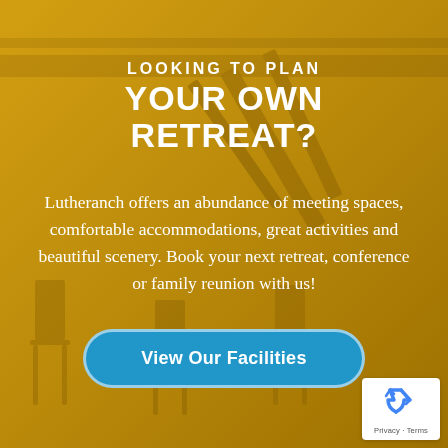[Figure (photo): Golden-toned background photo of a lodge/retreat facility with wooden architectural beams and chairs visible, overlaid with a warm golden/amber color wash]
LOOKING TO PLAN
YOUR OWN RETREAT?
Lutheranch offers an abundance of meeting spaces, comfortable accommodations, great activities and beautiful scenery. Book your next retreat, conference or family reunion with us!
View Our Facilities
[Figure (logo): reCAPTCHA badge with recycling arrow logo icon and 'Privacy - Terms' text below]